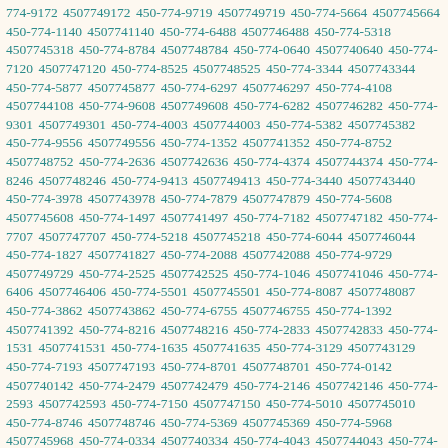774-9172 4507749172 450-774-9719 4507749719 450-774-5664 4507745664 450-774-1140 4507741140 450-774-6488 4507746488 450-774-5318 4507745318 450-774-8784 4507748784 450-774-0640 4507740640 450-774-7120 4507747120 450-774-8525 4507748525 450-774-3344 4507743344 450-774-5877 4507745877 450-774-6297 4507746297 450-774-4108 4507744108 450-774-9608 4507749608 450-774-6282 4507746282 450-774-9301 4507749301 450-774-4003 4507744003 450-774-5382 4507745382 450-774-9556 4507749556 450-774-1352 4507741352 450-774-8752 4507748752 450-774-2636 4507742636 450-774-4374 4507744374 450-774-8246 4507748246 450-774-9413 4507749413 450-774-3440 4507743440 450-774-3978 4507743978 450-774-7879 4507747879 450-774-5608 4507745608 450-774-1497 4507741497 450-774-7182 4507747182 450-774-7707 4507747707 450-774-5218 4507745218 450-774-6044 4507746044 450-774-1827 4507741827 450-774-2088 4507742088 450-774-9729 4507749729 450-774-2525 4507742525 450-774-1046 4507741046 450-774-6406 4507746406 450-774-5501 4507745501 450-774-8087 4507748087 450-774-3862 4507743862 450-774-6755 4507746755 450-774-1392 4507741392 450-774-8216 4507748216 450-774-2833 4507742833 450-774-1531 4507741531 450-774-1635 4507741635 450-774-3129 4507743129 450-774-7193 4507747193 450-774-8701 4507748701 450-774-0142 4507740142 450-774-2479 4507742479 450-774-2146 4507742146 450-774-2593 4507742593 450-774-7150 4507747150 450-774-5010 4507745010 450-774-8746 4507748746 450-774-5369 4507745369 450-774-5968 4507745968 450-774-0334 4507740334 450-774-4043 4507744043 450-774-4857 4507744857 450-